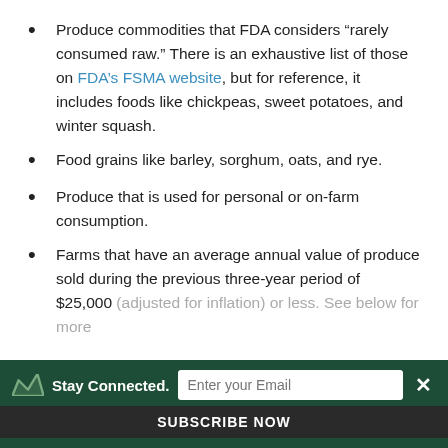Produce commodities that FDA considers “rarely consumed raw.” There is an exhaustive list of those on FDA’s FSMA website, but for reference, it includes foods like chickpeas, sweet potatoes, and winter squash.
Food grains like barley, sorghum, oats, and rye.
Produce that is used for personal or on-farm consumption.
Farms that have an average annual value of produce sold during the previous three-year period of $25,000 (adjusted for inflation) or less. See below for more
Stay Connected. Enter your Email SUBSCRIBE NOW